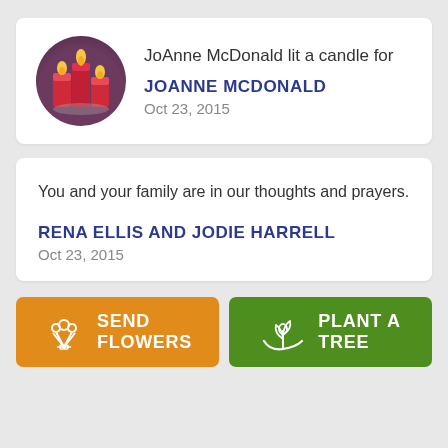JoAnne McDonald lit a candle for
JOANNE MCDONALD
Oct 23, 2015
You and your family are in our thoughts and prayers.
RENA ELLIS AND JODIE HARRELL
Oct 23, 2015
SEND FLOWERS
PLANT A TREE